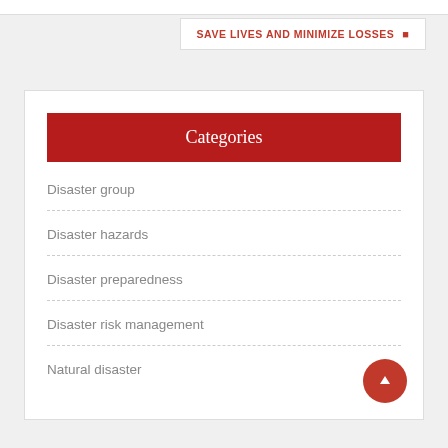SAVE LIVES AND MINIMIZE LOSSES
Categories
Disaster group
Disaster hazards
Disaster preparedness
Disaster risk management
Natural disaster